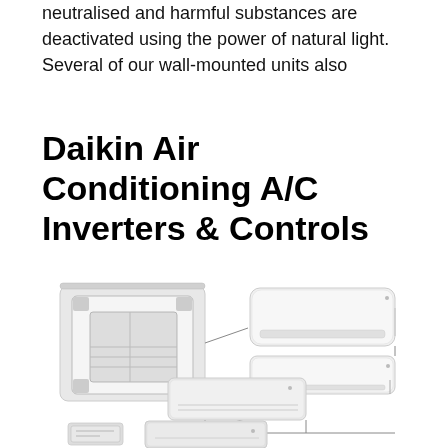neutralised and harmful substances are deactivated using the power of natural light. Several of our wall-mounted units also
Daikin Air Conditioning A/C Inverters & Controls
[Figure (illustration): Product illustration showing multiple Daikin air conditioning units: a ceiling cassette unit (top left), a wall-mounted indoor unit (top right), a slim wall-mounted unit (middle right), a floor-standing indoor unit (middle center), and two additional units (bottom center and bottom left), all connected by lines suggesting a product family lineup.]